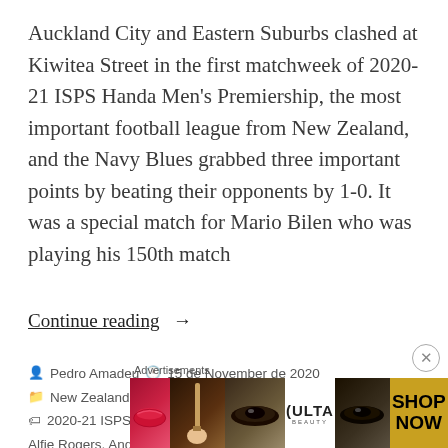Auckland City and Eastern Suburbs clashed at Kiwitea Street in the first matchweek of 2020-21 ISPS Handa Men's Premiership, the most important football league from New Zealand, and the Navy Blues grabbed three important points by beating their opponents by 1-0. It was a special match for Mario Bilen who was playing his 150th match
Continue reading →
Pedro Amadeu  15 de November de 2020  New Zealand, News  2020-21 ISPS Handa Premiership, Adam Thomas, Alfie Rogers, Andrew Blake, Auckland City, Dan Edwards,
[Figure (other): Ulta Beauty advertisement banner showing makeup/cosmetics imagery with lips, brush, eye makeup, Ulta logo, and SHOP NOW button]